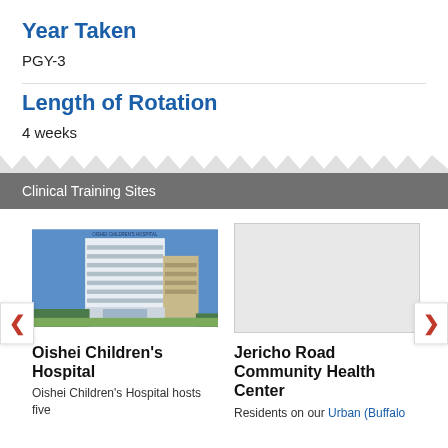Year Taken
PGY-3
Length of Rotation
4 weeks
Clinical Training Sites
[Figure (photo): Oishei Children's Hospital building exterior photo]
Oishei Children's Hospital
Oishei Children's Hospital hosts five
[Figure (photo): Jericho Road Community Health Center - placeholder image]
Jericho Road Community Health Center
Residents on our Urban (Buffalo